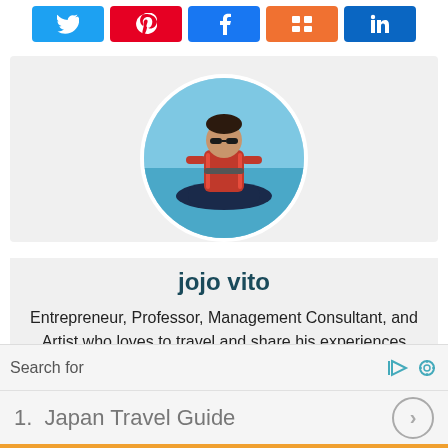[Figure (infographic): Social share buttons row: Twitter (blue), Pinterest (red), Facebook (blue), Mix (orange), LinkedIn (blue)]
[Figure (photo): Circular profile photo of jojo vito riding a jet ski on water]
jojo vito
Entrepreneur, Professor, Management Consultant, and Artist who loves to travel and share his experiences with others. You can send him a message through his various social
Search for
1.  Japan Travel Guide